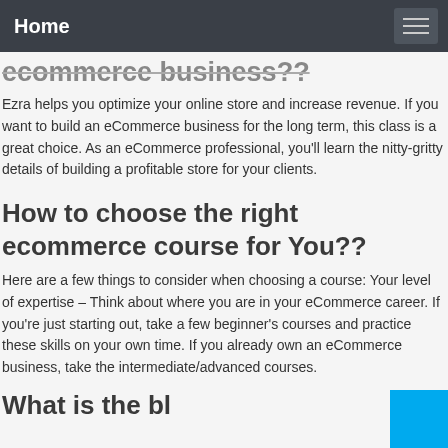Home
ecommerce business??
Ezra helps you optimize your online store and increase revenue. If you want to build an eCommerce business for the long term, this class is a great choice. As an eCommerce professional, you'll learn the nitty-gritty details of building a profitable store for your clients.
How to choose the right ecommerce course for You??
Here are a few things to consider when choosing a course: Your level of expertise – Think about where you are in your eCommerce career. If you're just starting out, take a few beginner's courses and practice these skills on your own time. If you already own an eCommerce business, take the intermediate/advanced courses.
What is the bl...